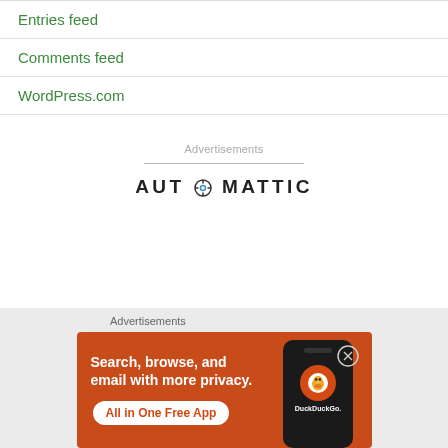Entries feed
Comments feed
WordPress.com
Advertisements
[Figure (logo): Automattic logo with compass-like O in the word AUTOMATTIC]
Advertisements
[Figure (illustration): DuckDuckGo advertisement banner on orange background. Text: Search, browse, and email with more privacy. All in One Free App. Shows a phone with DuckDuckGo logo.]